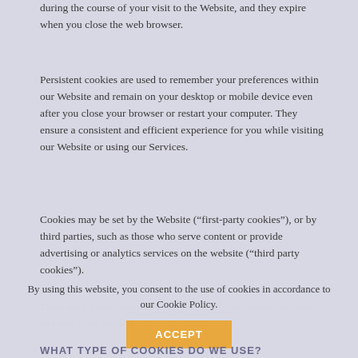during the course of your visit to the Website, and they expire when you close the web browser.
Persistent cookies are used to remember your preferences within our Website and remain on your desktop or mobile device even after you close your browser or restart your computer. They ensure a consistent and efficient experience for you while visiting our Website or using our Services.
Cookies may be set by the Website (“first-party cookies”), or by third parties, such as those who serve content or provide advertising or analytics services on the website (“third party cookies”).
These third parties can recognize you when you visit our website and also when you visit certain other websites.
By using this website, you consent to the use of cookies in accordance to our Cookie Policy.
ACCEPT
WHAT TYPE OF COOKIES DO WE USE?